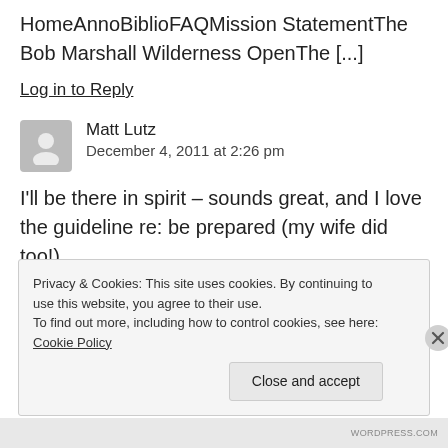HomeAnnoBiblioFAQMission StatementThe Bob Marshall Wilderness OpenThe [...]
Log in to Reply
Matt Lutz
December 4, 2011 at 2:26 pm
I'll be there in spirit – sounds great, and I love the guideline re: be prepared (my wife did too!).
Privacy & Cookies: This site uses cookies. By continuing to use this website, you agree to their use.
To find out more, including how to control cookies, see here: Cookie Policy
Close and accept